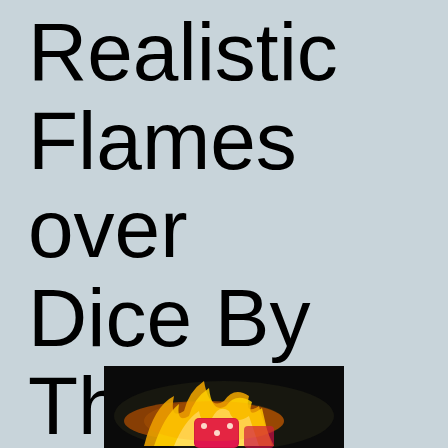Realistic Flames over Dice By Thomas Adams
[Figure (photo): A close-up photo of dice with realistic flame effects rendered over them, showing orange and yellow flames against a dark background with a red/pink die visible.]